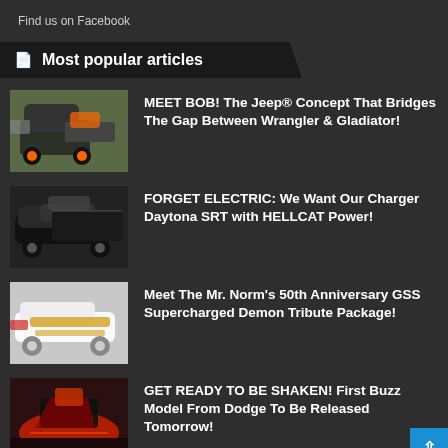Find us on Facebook
Most popular articles
MEET BOB! The Jeep® Concept That Bridges The Gap Between Wrangler & Gladiator!
FORGET ELECTRIC: We Want Our Charger Daytona SRT with HELLCAT Power!
Meet The Mr. Norm's 50th Anniversary GSS Supercharged Demon Tribute Package!
GET READY TO BE SHAKEN! First Buzz Model From Dodge To Be Released Tomorrow!